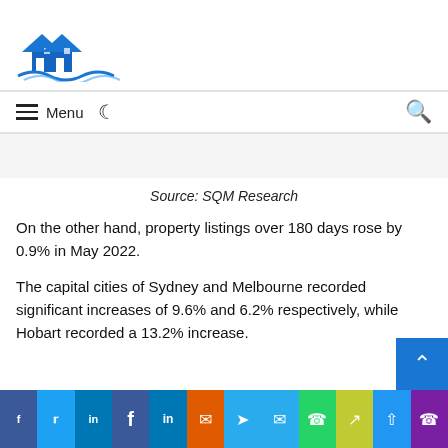[Figure (logo): Real estate website logo with two houses and wave design in blue]
Menu (navigation bar with moon/dark mode icon and search icon)
Source: SQM Research
On the other hand, property listings over 180 days rose by 0.9% in May 2022.
The capital cities of Sydney and Melbourne recorded significant increases of 9.6% and 6.2% respectively, while Hobart recorded a 13.2% increase.
Social share bar: Facebook, Twitter, LinkedIn, Facebook, LinkedIn, Messenger, Telegram, Messenger, WhatsApp, Share, Phone